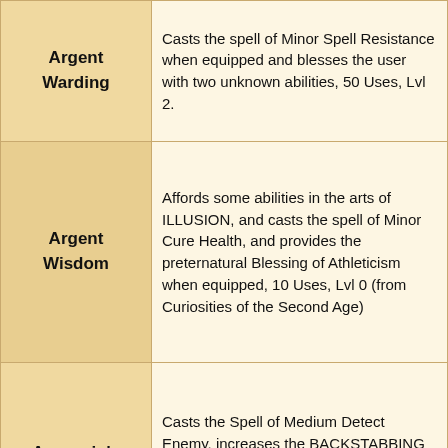| Item | Description |
| --- | --- |
| Argent Warding | Casts the spell of Minor Spell Resistance when equipped and blesses the user with two unknown abilities, 50 Uses, Lvl 2. |
| Argent Wisdom | Affords some abilities in the arts of ILLUSION, and casts the spell of Minor Cure Health, and provides the preternatural Blessing of Athleticism when equipped, 10 Uses, Lvl 0 (from Curiosities of the Second Age) |
| Assassin's Glory | Casts the Spell of Medium Detect Enemy, increases the BACKSTABBING skill, and bless the user with two unknown abilities, 10 Uses, Lvl 2 (Unknown)(?) |
| (partial row) | Bears enchantments enhancing the skills of AXE, and does Minor Magic... |